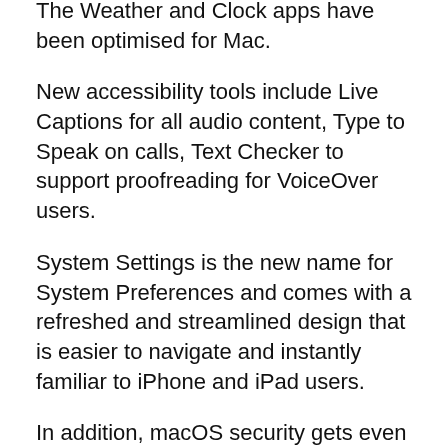The Weather and Clock apps have been optimised for Mac.
New accessibility tools include Live Captions for all audio content, Type to Speak on calls, Text Checker to support proofreading for VoiceOver users.
System Settings is the new name for System Preferences and comes with a refreshed and streamlined design that is easier to navigate and instantly familiar to iPhone and iPad users.
In addition, macOS security gets even more robust with new tools that make the Mac more resistant to attack, including Rapid Security Response, which works in between regular updates to easily keep security up to date without a reboot.
The developer beta of macOS Ventura is available to Apple Developer Program members from today, and a public beta will be available to Mac users next